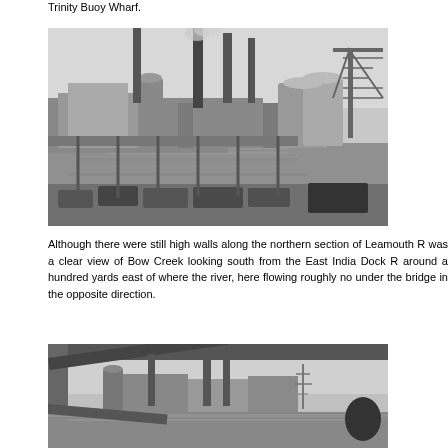Trinity Buoy Wharf.
[Figure (photo): Black and white photograph of an industrial waterfront scene with factory buildings, tall chimneys/smokestacks, storage tanks, a construction crane on the right, and cars parked in the foreground along a waterway.]
Although there were still high walls along the northern section of Leamouth R was a clear view of Bow Creek looking south from the East India Dock R around a hundred yards east of where the river, here flowing roughly no under the bridge in the opposite direction.
[Figure (photo): Black and white photograph taken from under a bridge looking south at Bow Creek, showing industrial buildings with chimneys in the background and water in the foreground, framed by bridge structural elements.]